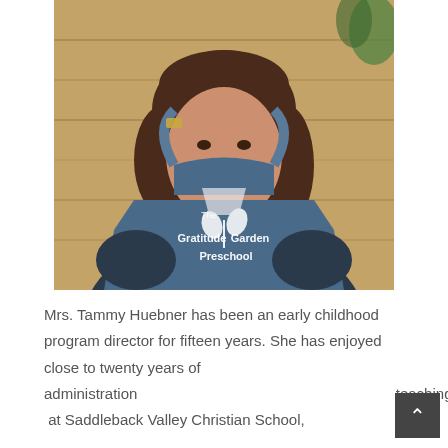[Figure (photo): Woman wearing a denim apron that reads 'The Gratitude Garden Preschool' with a plant logo, smiling, standing in front of a wooden background.]
Mrs. Tammy Huebner has been an early childhood program director for fifteen years. She has enjoyed close to twenty years of administration teaching  at Saddleback Valley Christian School,